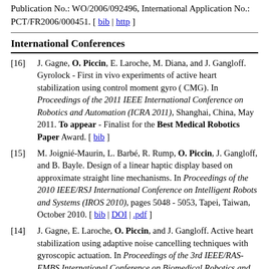Publication No.: WO/2006/092496, International Application No.: PCT/FR2006/000451. [ bib | http ]
International Conferences
[16] J. Gagne, O. Piccin, E. Laroche, M. Diana, and J. Gangloff. Gyrolock - First in vivo experiments of active heart stabilization using control moment gyro ( CMG). In Proceedings of the 2011 IEEE International Conference on Robotics and Automation (ICRA 2011), Shanghai, China, May 2011. To appear - Finalist for the Best Medical Robotics Paper Award. [ bib ]
[15] M. Joignié-Maurin, L. Barbé, R. Rump, O. Piccin, J. Gangloff, and B. Bayle. Design of a linear haptic display based on approximate straight line mechanisms. In Proceedings of the 2010 IEEE/RSJ International Conference on Intelligent Robots and Systems (IROS 2010), pages 5048 - 5053, Tapei, Taiwan, October 2010. [ bib | DOI | .pdf ]
[14] J. Gagne, E. Laroche, O. Piccin, and J. Gangloff. Active heart stabilization using adaptive noise cancelling techniques with gyroscopic actuation. In Proceedings of the 3rd IEEE/RAS-EMBS International Conference on Biomedical Robotics and Biomechatronics (BioRob 2010), pages 802 - 807, Tokyo, Japan, September 2010. Recipient of the Best...